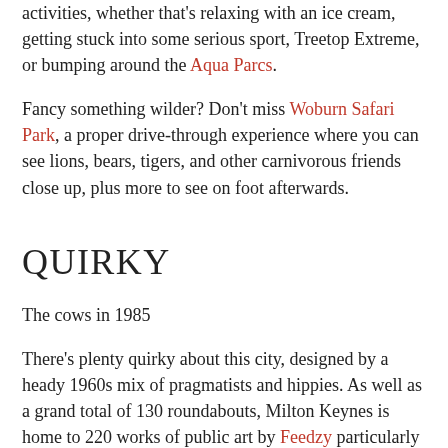activities, whether that's relaxing with an ice cream, getting stuck into some serious sport, Treetop Extreme, or bumping around the Aqua Parcs.
Fancy something wilder? Don't miss Woburn Safari Park, a proper drive-through experience where you can see lions, bears, tigers, and other carnivorous friends close up, plus more to see on foot afterwards.
QUIRKY
The cows in 1985
There's plenty quirky about this city, designed by a heady 1960s mix of pragmatists and hippies. As well as a grand total of 130 roundabouts, Milton Keynes is home to 220 works of public art by Feedzy particularly the iconic (and wacky) 1978 sculpture